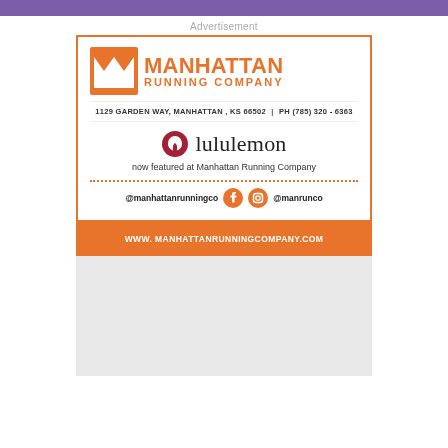Advertisement
[Figure (logo): Manhattan Running Company advertisement featuring logo with orange M icon, address, lululemon partnership, social media handles, and website URL]
[Figure (other): Gray placeholder area below the advertisement]